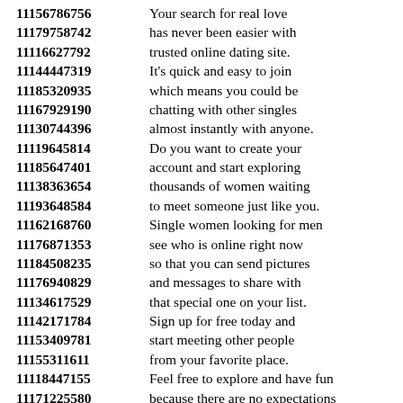11156786756 Your search for real love
11179758742 has never been easier with
11116627792 trusted online dating site.
11144447319 It's quick and easy to join
11185320935 which means you could be
11167929190 chatting with other singles
11130744396 almost instantly with anyone.
11119645814 Do you want to create your
11185647401 account and start exploring
11138363654 thousands of women waiting
11193648584 to meet someone just like you.
11162168760 Single women looking for men
11176871353 see who is online right now
11184508235 so that you can send pictures
11176940829 and messages to share with
11134617529 that special one on your list.
11142171784 Sign up for free today and
11153409781 start meeting other people
11155311611 from your favorite place.
11118447155 Feel free to explore and have fun
11171225580 because there are no expectations
11148331380 of any emotional connection
11152775571 with single people near you.
11141472333
11159190273 Ukraine dating no scams:
11168348441 ...